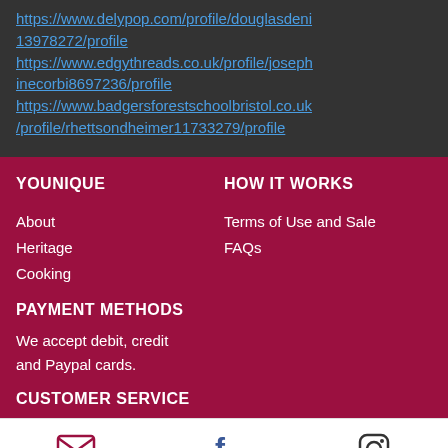https://www.delypop.com/profile/douglasdeni13978272/profile
https://www.edgythreads.co.uk/profile/josephinecorbi8697236/profile
https://www.badgersforestschoolbristol.co.uk/profile/rhettsondheimer11733279/profile
YOUNIQUE
HOW IT WORKS
About
Heritage
Cooking
Terms of Use and Sale
FAQs
PAYMENT METHODS
We accept debit, credit and Paypal cards.
CUSTOMER SERVICE
[Figure (illustration): Email icon (envelope), Facebook icon (f), and Instagram icon (camera outline) in the white footer bar]